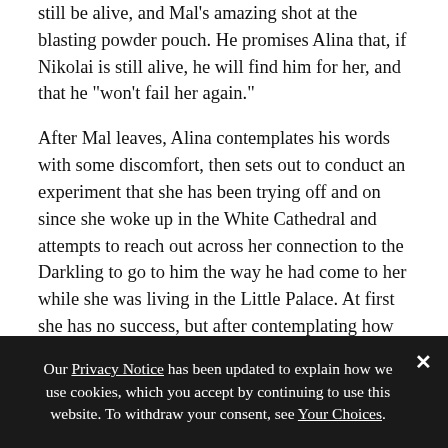still be alive, and Mal's amazing shot at the blasting powder pouch. He promises Alina that, if Nikolai is still alive, he will find him for her, and that he “won’t fail her again.”
After Mal leaves, Alina contemplates his words with some discomfort, then sets out to conduct an experiment that she has been trying off and on since she woke up in the White Cathedral and attempts to reach out across her connection to the Darkling to go to him the way he had come to her while she was living in the Little Palace. At first she has no success, but after contemplating how much she may be becoming like him, and how much more she might be once she has the third amplifier, the connection
Our Privacy Notice has been updated to explain how we use cookies, which you accept by continuing to use this website. To withdraw your consent, see Your Choices.